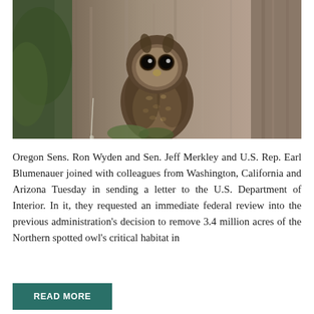[Figure (photo): A Northern spotted owl perched against a large tree trunk with textured bark. The owl faces the camera with large dark eyes, brown and white spotted plumage, against a backdrop of mossy wood.]
Oregon Sens. Ron Wyden and Sen. Jeff Merkley and U.S. Rep. Earl Blumenauer joined with colleagues from Washington, California and Arizona Tuesday in sending a letter to the U.S. Department of Interior. In it, they requested an immediate federal review into the previous administration's decision to remove 3.4 million acres of the Northern spotted owl's critical habitat in